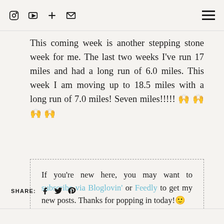[icons: Instagram, YouTube, Plus, Email] [Hamburger menu]
This coming week is another stepping stone week for me. The last two weeks I've run 17 miles and had a long run of 6.0 miles. This week I am moving up to 18.5 miles with a long run of 7.0 miles! Seven miles!!!!! 🙌🙌🙌🙌
If you're new here, you may want to subscribe via Bloglovin' or Feedly to get my new posts. Thanks for popping in today!🙂
SHARE: [Facebook] [Twitter] [Pinterest]